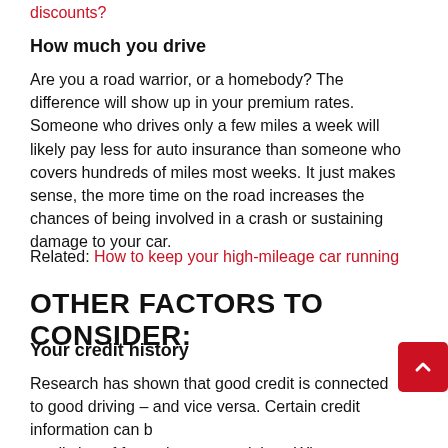discounts?
How much you drive
Are you a road warrior, or a homebody? The difference will show up in your premium rates. Someone who drives only a few miles a week will likely pay less for auto insurance than someone who covers hundreds of miles most weeks. It just makes sense, the more time on the road increases the chances of being involved in a crash or sustaining damage to your car.
Related: How to keep your high-mileage car running
OTHER FACTORS TO CONSIDER:
Your credit history
Research has shown that good credit is connected to good driving – and vice versa. Certain credit information can be predictive of future insurance claims. When permissible, many insurance companies use credit history to help